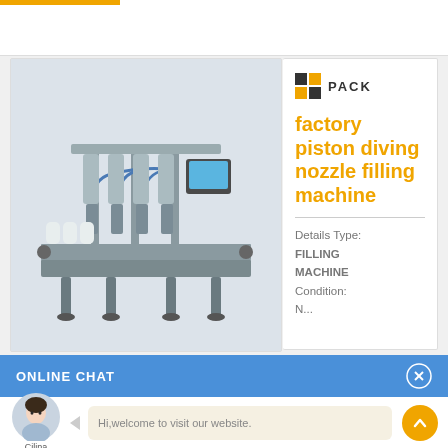[Figure (photo): Factory piston diving nozzle filling machine — industrial conveyor-style liquid filling machine with multiple nozzle heads, blue tubing, and a control panel, shown on white background]
factory piston diving nozzle filling machine
Details Type: FILLING MACHINE Condition: N...
ONLINE CHAT
[Figure (photo): Avatar photo of a young woman named Cilina, customer service agent]
Hi,welcome to visit our website.
Cilina